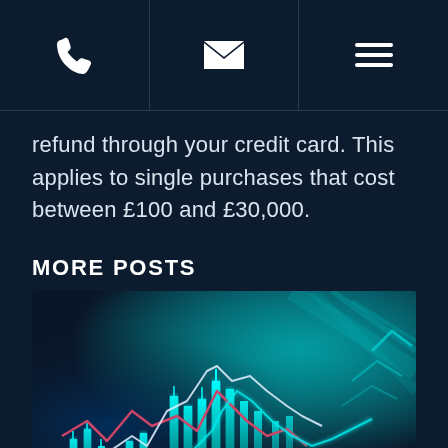[Navigation bar with phone, email, and menu icons]
refund through your credit card. This applies to single purchases that cost between £100 and £30,000.
MORE POSTS
[Figure (photo): Stock market trading chart with candlestick bars and line graphs glowing in teal/cyan on a dark blue background]